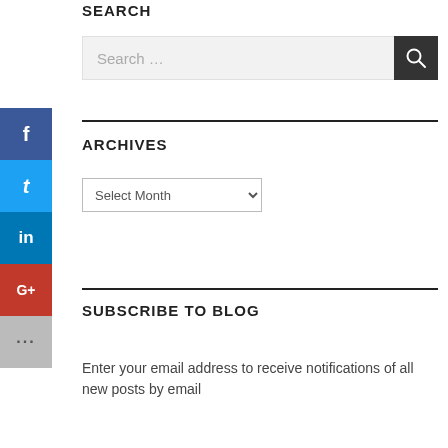SEARCH
[Figure (screenshot): Search input box with placeholder text 'Search ...' and a dark search button with magnifying glass icon]
ARCHIVES
[Figure (screenshot): Dropdown select element with 'Select Month' option]
SUBSCRIBE TO BLOG
Enter your email address to receive notifications of all new posts by email